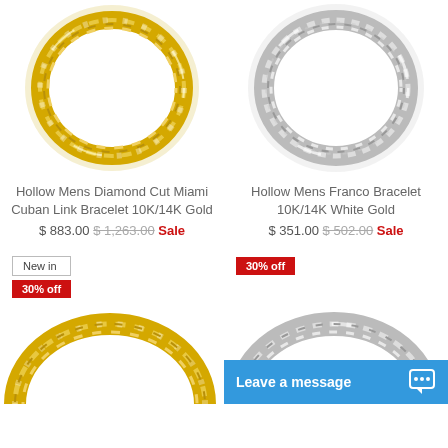[Figure (photo): Gold Miami Cuban Link Bracelet ring photo]
[Figure (photo): White Gold Franco Bracelet ring photo]
Hollow Mens Diamond Cut Miami Cuban Link Bracelet 10K/14K Gold
$ 883.00  $1,263.00  Sale
Hollow Mens Franco Bracelet 10K/14K White Gold
$ 351.00  $502.00  Sale
[Figure (photo): Gold Franco bracelet partial photo with New in and 30% off badges]
[Figure (photo): White Gold bracelet partial photo with 30% off badge]
Leave a message